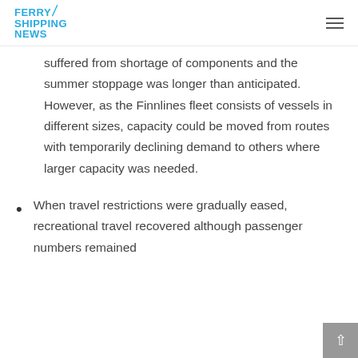FERRY SHIPPING NEWS
suffered from shortage of components and the summer stoppage was longer than anticipated. However, as the Finnlines fleet consists of vessels in different sizes, capacity could be moved from routes with temporarily declining demand to others where larger capacity was needed.
When travel restrictions were gradually eased, recreational travel recovered although passenger numbers remained